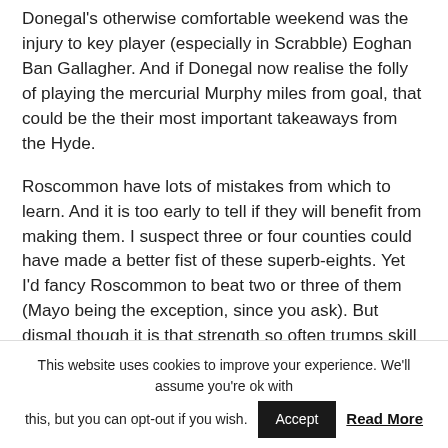Donegal's otherwise comfortable weekend was the injury to key player (especially in Scrabble) Eoghan Ban Gallagher. And if Donegal now realise the folly of playing the mercurial Murphy miles from goal, that could be the their most important takeaways from the Hyde.
Roscommon have lots of mistakes from which to learn. And it is too early to tell if they will benefit from making them. I suspect three or four counties could have made a better fist of these superb-eights. Yet I'd fancy Roscommon to beat two or three of them (Mayo being the exception, since you ask). But dismal though it is that strength so often trumps skill in
This website uses cookies to improve your experience. We'll assume you're ok with this, but you can opt-out if you wish. Accept Read More